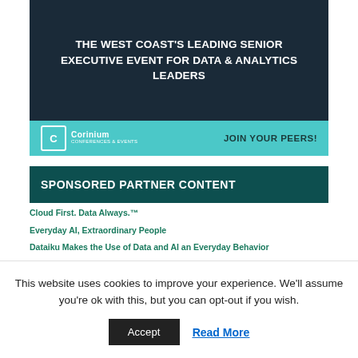[Figure (illustration): Dark banner advertisement for Corinium event. Top portion has dark navy/charcoal background with white bold uppercase text reading 'THE WEST COAST'S LEADING SENIOR EXECUTIVE EVENT FOR DATA & ANALYTICS LEADERS'. Bottom strip is teal/cyan with Corinium logo on the left and 'JOIN YOUR PEERS!' text on the right.]
SPONSORED PARTNER CONTENT
Cloud First. Data Always.™
Everyday AI, Extraordinary People
Dataiku Makes the Use of Data and AI an Everyday Behavior
Data Fabrics as the best path for Enterprise Data Integration
Dataiku connects data and doers through Everyday AI
Leaving Legacy ETL Behind
This website uses cookies to improve your experience. We'll assume you're ok with this, but you can opt-out if you wish.
Accept   Read More